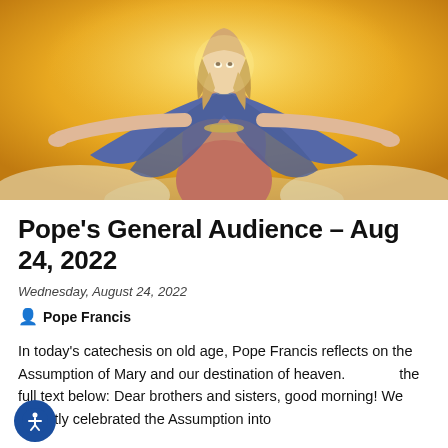[Figure (illustration): Religious painting of the Assumption of Mary — a woman in blue mantle and salmon/pink dress with arms outstretched, ascending against a golden yellow background with clouds.]
Pope's General Audience – Aug 24, 2022
Wednesday, August 24, 2022
Pope Francis
In today's catechesis on old age, Pope Francis reflects on the Assumption of Mary and our destination of heaven. the full text below: Dear brothers and sisters, good morning! We recently celebrated the Assumption into